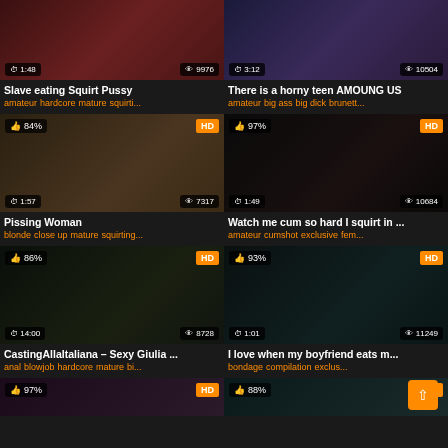[Figure (screenshot): Video thumbnail grid of adult content website showing 8 video cards in 2-column layout with thumbnails, duration, view counts, titles, and tags]
Slave eating Squirt Pussy
amateur hardcore mature squirti...
There is a horny teen AMOUNG US
amateur big ass big dick brunett...
Pissing Woman
blonde close up mature squirting...
Watch me cum so hard I squirt in ...
amateur cumshot exclusive fem...
CastingAllaltaliana – Sexy Giulia ...
anal blowjob hardcore mature bi...
I love when my boyfriend eats m...
bondage compilation exclus...